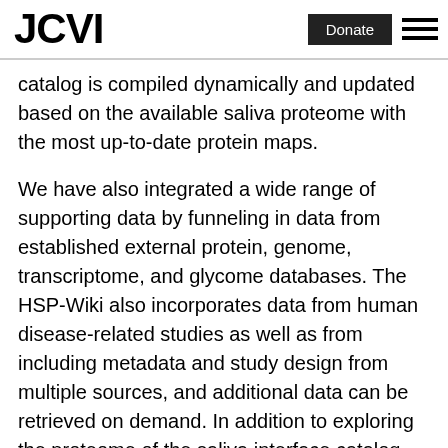JCVI | Donate
catalog is compiled dynamically and updated based on the available saliva proteome with the most up-to-date protein maps.
We have also integrated a wide range of supporting data by funneling in data from established external protein, genome, transcriptome, and glycome databases. The HSP-Wiki also incorporates data from human disease-related studies as well as from including metadata and study design from multiple sources, and additional data can be retrieved on demand. In addition to exploring the proteome of the saliva interface catalog, users are encouraged to annotate deposited the protein entries using a simple, intuitive interface.
The curation process is facilitated by a combination by leaders in the field and of both community feedback. Dr.